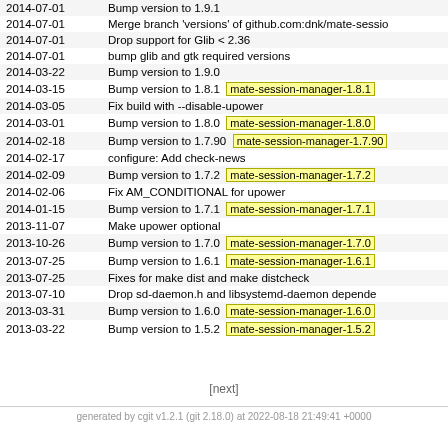| Date | Message |
| --- | --- |
| 2014-07-01 | Bump version to 1.9.1 |
| 2014-07-01 | Merge branch 'versions' of github.com:dnk/mate-sessio |
| 2014-07-01 | Drop support for Glib < 2.36 |
| 2014-07-01 | bump glib and gtk required versions |
| 2014-03-22 | Bump version to 1.9.0 |
| 2014-03-15 | Bump version to 1.8.1  mate-session-manager-1.8.1 |
| 2014-03-05 | Fix build with --disable-upower |
| 2014-03-01 | Bump version to 1.8.0  mate-session-manager-1.8.0 |
| 2014-02-18 | Bump version to 1.7.90  mate-session-manager-1.7.90 |
| 2014-02-17 | configure: Add check-news |
| 2014-02-09 | Bump version to 1.7.2  mate-session-manager-1.7.2 |
| 2014-02-06 | Fix AM_CONDITIONAL for upower |
| 2014-01-15 | Bump version to 1.7.1  mate-session-manager-1.7.1 |
| 2013-11-07 | Make upower optional |
| 2013-10-26 | Bump version to 1.7.0  mate-session-manager-1.7.0 |
| 2013-07-25 | Bump version to 1.6.1  mate-session-manager-1.6.1 |
| 2013-07-25 | Fixes for make dist and make distcheck |
| 2013-07-10 | Drop sd-daemon.h and libsystemd-daemon depende |
| 2013-03-31 | Bump version to 1.6.0  mate-session-manager-1.6.0 |
| 2013-03-22 | Bump version to 1.5.2  mate-session-manager-1.5.2 |
[next]
generated by cgit v1.2.1 (git 2.18.0) at 2022-08-18 21:49:41 +0000